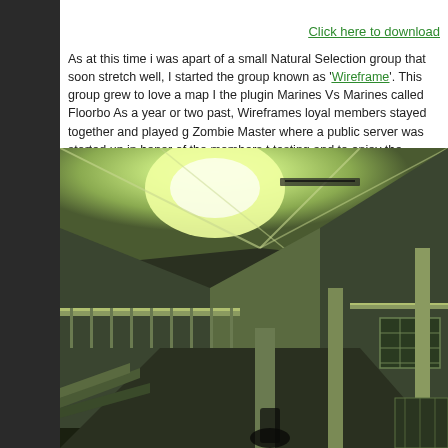[Figure (screenshot): Top banner/header image showing a dark blue game-related graphic with grid/wireframe elements]
Click here to download
As at this time i was apart of a small Natural Selection group that soon stretch well, I started the group known as 'Wireframe'. This group grew to love a map I the plugin Marines Vs Marines called Floorbo As a year or two past, Wireframes loyal members stayed together and played g Zombie Master where a public server was started up in honer of the members t testing and to enjoy the Australia pacific gami
[Figure (screenshot): Interior view of a game level (Zombie Master or similar), showing a room with greenish lighting, ceiling, railings, stairs and windows in a first-person perspective]